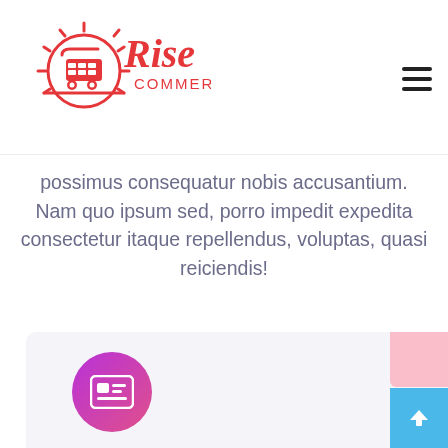[Figure (logo): Rise Commerce logo with shopping cart and sun icon in red/pink, text 'Rise COMMERCE' in script and sans-serif]
possimus consequatur nobis accusantium. Nam quo ipsum sed, porro impedit expedita consectetur itaque repellendus, voluptas, quasi reiciendis!
[Figure (illustration): Bottom card section with gradient purple-pink news/ID card icon circle on left, pink box top-right, blue back-to-top button bottom-right]